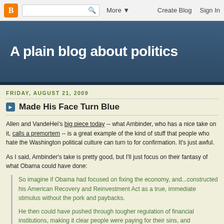Blogger navigation bar with search, More, Create Blog, Sign In
A plain blog about politics
FRIDAY, AUGUST 21, 2009
Made His Face Turn Blue
Allen and VandeHei's big piece today -- what Ambinder, who has a nice take on it, calls a premortem -- is a great example of the kind of stuff that people who hate the Washington political culture can turn to for confirmation. It's just awful.
As I said, Ambinder's take is pretty good, but I'll just focus on their fantasy of what Obama could have done:
So imagine if Obama had focused on fixing the economy, and...constructed his American Recovery and Reinvestment Act as a true, immediate stimulus without the pork and paybacks.
He then could have pushed through tougher regulation of financial institutions, making it clear people were paying for their sins, and